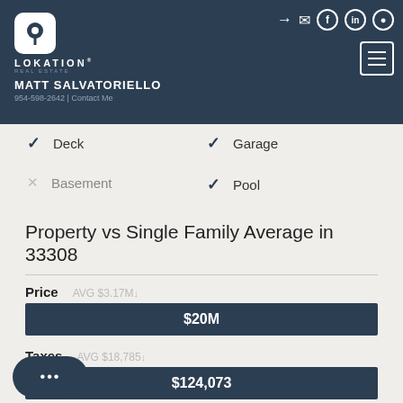Lokation Real Estate — Matt Salvatoriello — 954-598-2642 | Contact Me
✓ Deck
✓ Garage
✗ Basement
✓ Pool
Property vs Single Family Average in 33308
| Metric | AVG | Value |
| --- | --- | --- |
| Price | AVG $3.17M | $20M |
| Taxes | AVG $18,785 | $124,073 |
| Visits | AVG 188 |  |